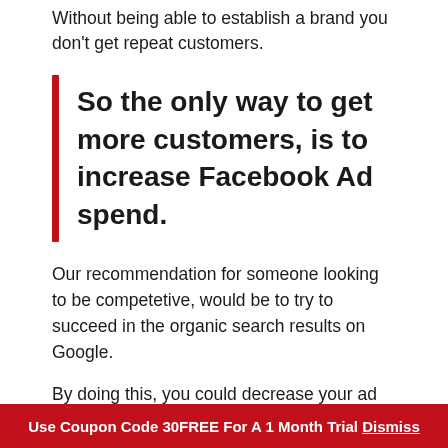Without being able to establish a brand you don't get repeat customers.
So the only way to get more customers, is to increase Facebook Ad spend.
Our recommendation for someone looking to be competetive, would be to try to succeed in the organic search results on Google.
By doing this, you could decrease your ad spend, and have a more sustainable business model.
Use Coupon Code 30FREE For A 1 Month Trial Dismiss